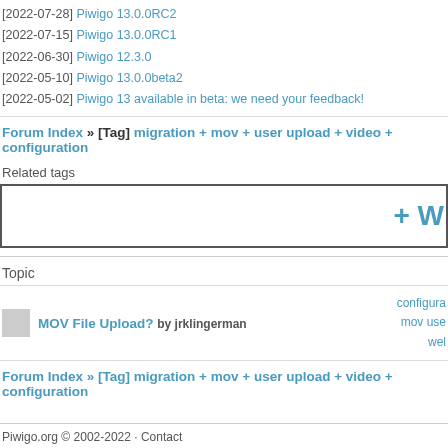[2022-07-28] Piwigo 13.0.0RC2
[2022-07-15] Piwigo 13.0.0RC1
[2022-06-30] Piwigo 12.3.0
[2022-05-10] Piwigo 13.0.0beta2
[2022-05-02] Piwigo 13 available in beta: we need your feedback!
Forum Index » [Tag] migration + mov + user upload + video + configuration
Related tags
+ W
Topic
MOV File Upload? by jrklingerman
configura mov use wel
Forum Index » [Tag] migration + mov + user upload + video + configuration
Piwigo.org © 2002-2022 · Contact